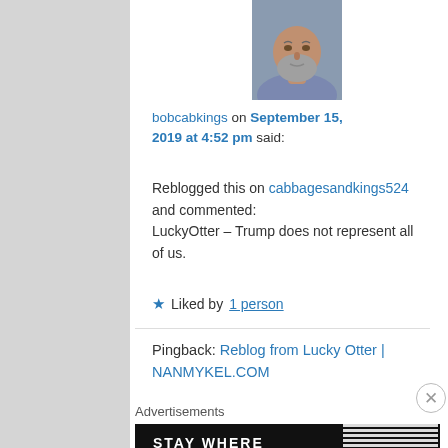[Figure (photo): Avatar/profile photo of a middle-aged man with a gray beard, wearing a purple shirt, cropped close-up of face.]
bobcabkings on September 15, 2019 at 4:52 pm said:
Reblogged this on cabbagesandkings524 and commented:
LuckyOtter – Trump does not represent all of us.
★ Liked by 1 person
Pingback: Reblog from Lucky Otter | NANMYKEL.COM
Advertisements
[Figure (screenshot): Advertisement banner with black background reading 'STAY WHERE IT ALL STARTED' with vertical bar patterns on the right side.]